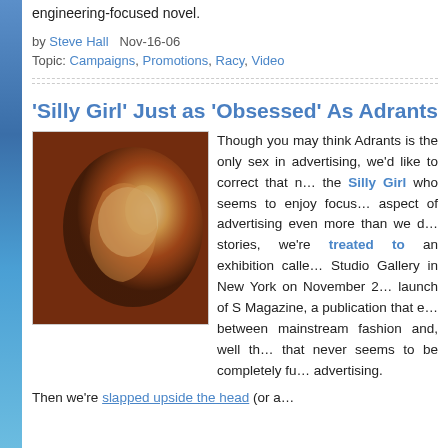engineering-focused novel.
by Steve Hall   Nov-16-06
Topic: Campaigns, Promotions, Racy, Video
'Silly Girl' Just as 'Obsessed' As Adrants
[Figure (photo): Close-up photo of a person's face in warm golden light with an S Magazine logo overlay in the top left corner]
Though you may think Adrants is the only sex in advertising, we'd like to correct that notion. Meet the Silly Girl who seems to enjoy focusing on that aspect of advertising even more than we do. In her stories, we're treated to an exhibition called Studio Gallery in New York on November 2... launch of S Magazine, a publication that explores between mainstream fashion and, well the that never seems to be completely ful... advertising.
Then we're slapped upside the head (or a...